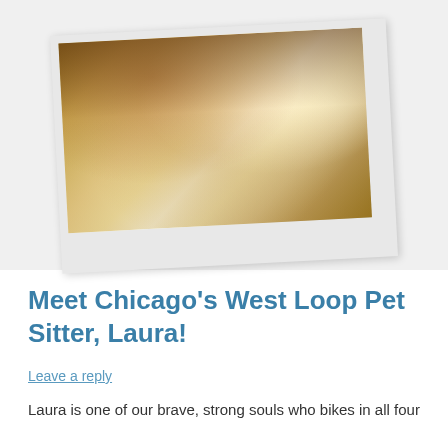[Figure (photo): Polaroid-style photo of a smiling woman with long brown hair and a dog, warm golden tones, slightly rotated]
Meet Chicago's West Loop Pet Sitter, Laura!
Leave a reply
Laura is one of our brave, strong souls who bikes in all four